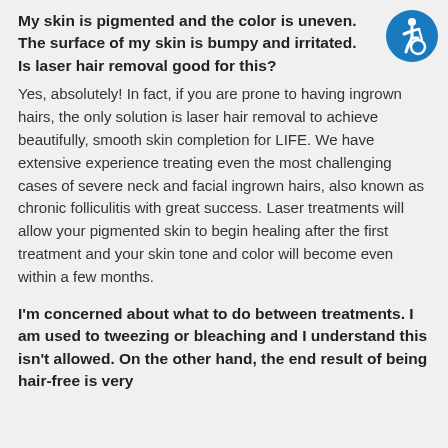My skin is pigmented and the color is uneven. The surface of my skin is bumpy and irritated. Is laser hair removal good for this?
Yes, absolutely! In fact, if you are prone to having ingrown hairs, the only solution is laser hair removal to achieve beautifully, smooth skin completion for LIFE. We have extensive experience treating even the most challenging cases of severe neck and facial ingrown hairs, also known as chronic folliculitis with great success. Laser treatments will allow your pigmented skin to begin healing after the first treatment and your skin tone and color will become even within a few months.
I'm concerned about what to do between treatments. I am used to tweezing or bleaching and I understand this isn't allowed. On the other hand, the end result of being hair-free is very
[Figure (illustration): Blue circular accessibility icon showing a wheelchair user symbol in white on a blue background]